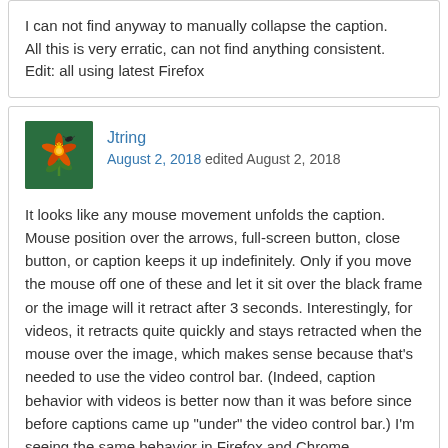I can not find anyway to manually collapse the caption.
All this is very erratic, can not find anything consistent.
Edit: all using latest Firefox
Jtring
August 2, 2018 edited August 2, 2018
It looks like any mouse movement unfolds the caption. Mouse position over the arrows, full-screen button, close button, or caption keeps it up indefinitely. Only if you move the mouse off one of these and let it sit over the black frame or the image will it retract after 3 seconds. Interestingly, for videos, it retracts quite quickly and stays retracted when the mouse over the image, which makes sense because that's needed to use the video control bar. (Indeed, caption behavior with videos is better now than it was before since before captions came up "under" the video control bar.) I'm seeing the same behavior in Firefox and Chrome.
I'm with Allen though. The older arrangement of bringing up